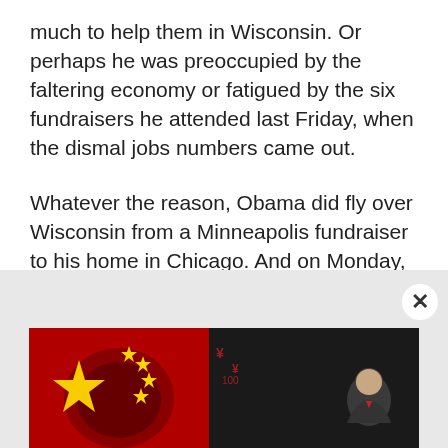much to help them in Wisconsin. Or perhaps he was preoccupied by the faltering economy or fatigued by the six fundraisers he attended last Friday, when the dismal jobs numbers came out.
Whatever the reason, Obama did fly over Wisconsin from a Minneapolis fundraiser to his home in Chicago. And on Monday, he tweeted his "backing" of Tom Barrett, although he didn't use the full 140 characters.
[Figure (infographic): Advertisement banner: 'HELP US EXPOSE THE THREAT OF COMMUNIST CHINA' with Chinese flag imagery on the left and a person in suit on the right against dark background.]